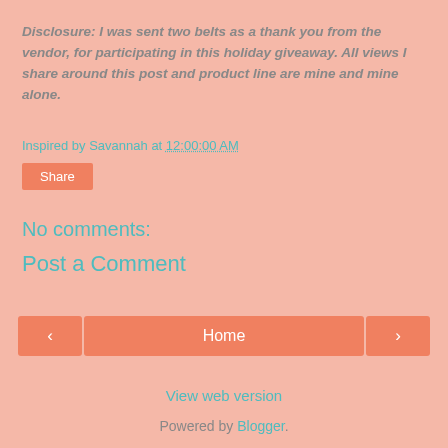Disclosure:  I was sent two belts as a thank you from the vendor, for participating in this holiday giveaway.  All views I share around this post and product line are mine and mine alone.
Inspired by Savannah at 12:00:00 AM
Share
No comments:
Post a Comment
< Home >
View web version
Powered by Blogger.